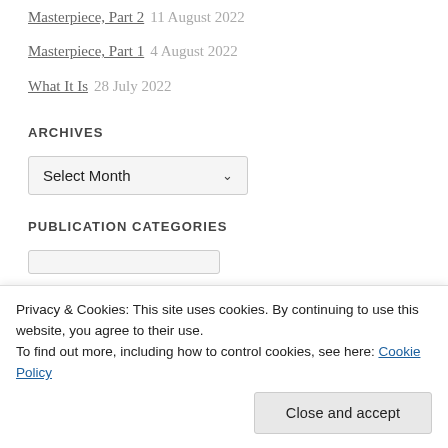Masterpiece, Part 2   11 August 2022
Masterpiece, Part 1   4 August 2022
What It Is   28 July 2022
ARCHIVES
Select Month
PUBLICATION CATEGORIES
Privacy & Cookies: This site uses cookies. By continuing to use this website, you agree to their use. To find out more, including how to control cookies, see here: Cookie Policy
Close and accept